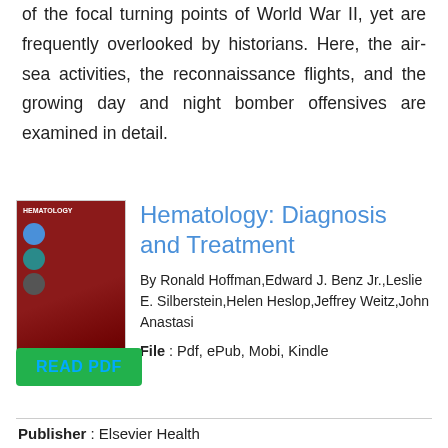of the focal turning points of World War II, yet are frequently overlooked by historians. Here, the air-sea activities, the reconnaissance flights, and the growing day and night bomber offensives are examined in detail.
Hematology: Diagnosis and Treatment
[Figure (illustration): Book cover of Hematology: Diagnosis and Treatment, dark red background with circular icons]
By Ronald Hoffman,Edward J. Benz Jr.,Leslie E. Silberstein,Helen Heslop,Jeffrey Weitz,John Anastasi
File : Pdf, ePub, Mobi, Kindle
Publisher : Elsevier Health